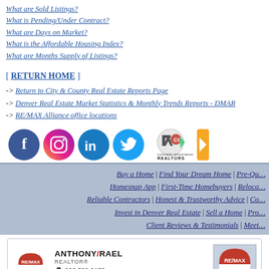What are Sold Listings?
What is Pending/Under Contract?
What are Days on Market?
What is the Affordable Housing Index?
What are Months Supply of Listings?
[ RETURN HOME ]
-> Return to City & County Real Estate Reports Page
-> Denver Real Estate Market Statistics & Monthly Trends Reports - DMAR
-> RE/MAX Alliance office locations
[Figure (illustration): Social media icons: Facebook, Instagram, LinkedIn, Twitter, Colorado Association of Realtors logo, and a partial yellow/orange icon]
Buy a Home | Find Your Dream Home | Pre-Qu... | Homesnap App | First-Time Homebuyers | Reloca... | Reliable Contractors | Honest & Trustworthy Advice | Co... | Invest in Denver Real Estate | Sell a Home | Pro... | Client Reviews & Testimonials | Meet...
[Figure (illustration): RE/MAX logo and Anthony Rael Realtor business card with phone 303.520.3179 and email anthonyrael@remax.net, and a partial RE/MAX logo on the right]